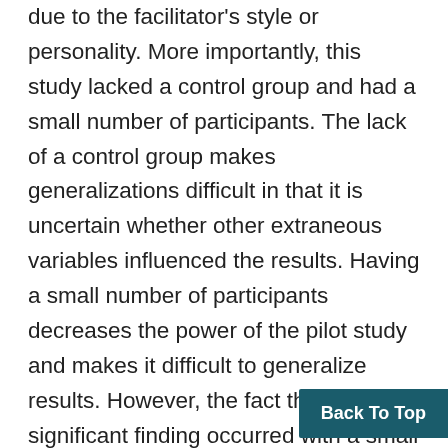due to the facilitator's style or personality. More importantly, this study lacked a control group and had a small number of participants. The lack of a control group makes generalizations difficult in that it is uncertain whether other extraneous variables influenced the results. Having a small number of participants decreases the power of the pilot study and makes it difficult to generalize results. However, the fact that a significant finding occurred with a small sample size indicates the strong influence of the intervention (Gay & Airasian, 2003). In schools, it is difficult to conduct full-scale stu... a number of preexisting conditions, such as